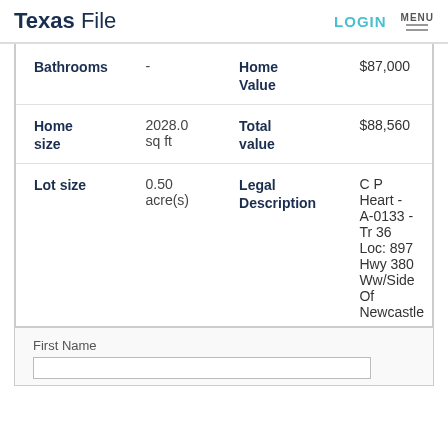Texas File   LOGIN   MENU
| Field | Value | Field | Value |
| --- | --- | --- | --- |
| Bathrooms | - | Home Value | $87,000 |
| Home size | 2028.0 sq ft | Total value | $88,560 |
| Lot size | 0.50 acre(s) | Legal Description | C P Heart - A-0133 - Tr 36 Loc: 897 Hwy 380 Ww/Side Of Newcastle |
First Name